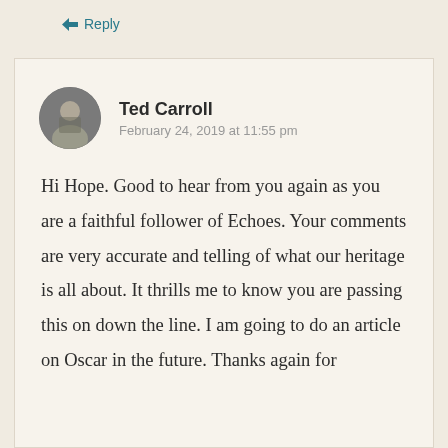↳ Reply
[Figure (photo): Circular avatar photo of Ted Carroll, a middle-aged man]
Ted Carroll
February 24, 2019 at 11:55 pm
Hi Hope. Good to hear from you again as you are a faithful follower of Echoes. Your comments are very accurate and telling of what our heritage is all about. It thrills me to know you are passing this on down the line. I am going to do an article on Oscar in the future. Thanks again for